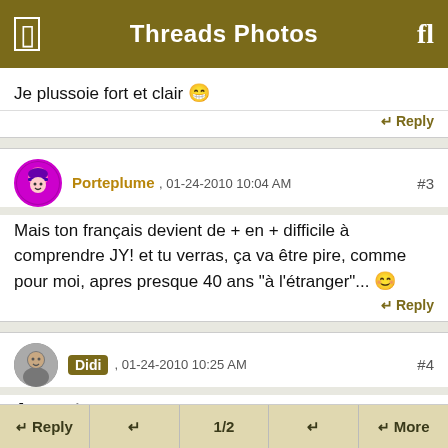Threads Photos
Je plussoie fort et clair 😁
↵ Reply
Porteplume , 01-24-2010 10:04 AM #3
Mais ton français devient de + en + difficile à comprendre JY! et tu verras, ça va être pire, comme pour moi, apres presque 40 ans "à l'étranger"... 😊
↵ Reply
Didi , 01-24-2010 10:25 AM #4
Accent
↵ Reply   ↵   1/2   ↵   ↵ More